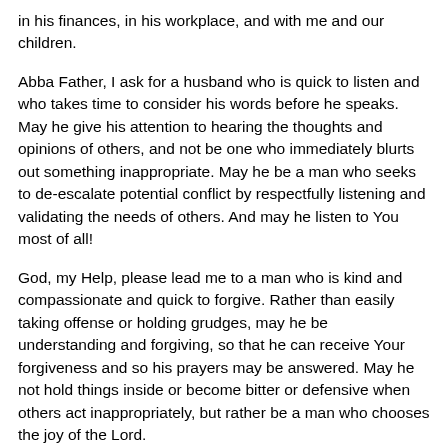in his finances, in his workplace, and with me and our children.
Abba Father, I ask for a husband who is quick to listen and who takes time to consider his words before he speaks. May he give his attention to hearing the thoughts and opinions of others, and not be one who immediately blurts out something inappropriate. May he be a man who seeks to de-escalate potential conflict by respectfully listening and validating the needs of others. And may he listen to You most of all!
God, my Help, please lead me to a man who is kind and compassionate and quick to forgive. Rather than easily taking offense or holding grudges, may he be understanding and forgiving, so that he can receive Your forgiveness and so his prayers may be answered. May he not hold things inside or become bitter or defensive when others act inappropriately, but rather be a man who chooses the joy of the Lord.
God of Peace, I pray that You lead me to a man who is not given to anger. May he answer gently when others attempt to